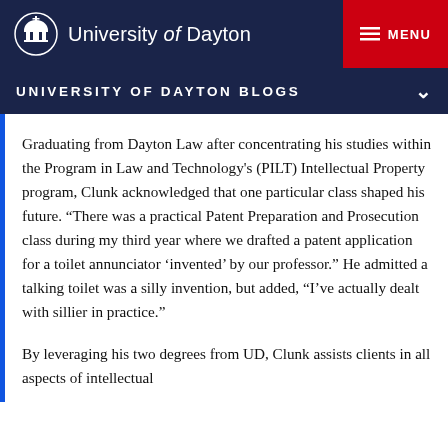University of Dayton
UNIVERSITY OF DAYTON BLOGS
Graduating from Dayton Law after concentrating his studies within the Program in Law and Technology's (PILT) Intellectual Property program, Clunk acknowledged that one particular class shaped his future. “There was a practical Patent Preparation and Prosecution class during my third year where we drafted a patent application for a toilet annunciator ‘invented’ by our professor.” He admitted a talking toilet was a silly invention, but added, “I’ve actually dealt with sillier in practice.”
By leveraging his two degrees from UD, Clunk assists clients in all aspects of intellectual